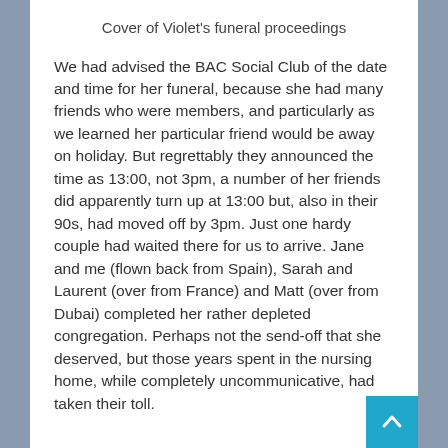Cover of Violet's funeral proceedings
We had advised the BAC Social Club of the date and time for her funeral, because she had many friends who were members, and particularly as we learned her particular friend would be away on holiday. But regrettably they announced the time as 13:00, not 3pm, a number of her friends did apparently turn up at 13:00 but, also in their 90s, had moved off by 3pm. Just one hardy couple had waited there for us to arrive. Jane and me (flown back from Spain), Sarah and Laurent (over from France) and Matt (over from Dubai) completed her rather depleted congregation. Perhaps not the send-off that she deserved, but those years spent in the nursing home, while completely uncommunicative, had taken their toll.